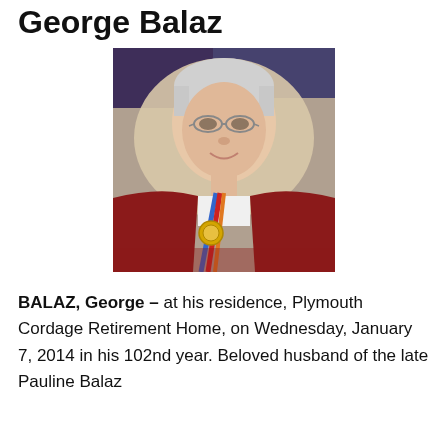George Balaz
[Figure (photo): Portrait photo of an elderly man with white/grey hair, wearing glasses, a dark red/maroon cardigan, white shirt, and a coloured ribbon with a gold medal around his neck. He is smiling and seated in front of a beige patterned background.]
BALAZ, George – at his residence, Plymouth Cordage Retirement Home, on Wednesday, January 7, 2014 in his 102nd year. Beloved husband of the late Pauline Balaz